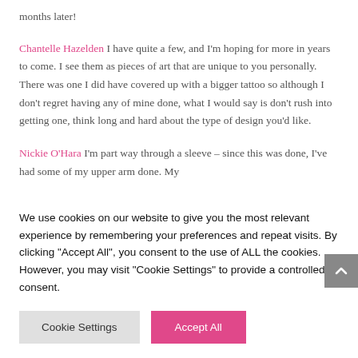months later!
Chantelle Hazelden I have quite a few, and I'm hoping for more in years to come. I see them as pieces of art that are unique to you personally. There was one I did have covered up with a bigger tattoo so although I don't regret having any of mine done, what I would say is don't rush into getting one, think long and hard about the type of design you'd like.
Nickie O'Hara I'm part way through a sleeve – since this was done, I've had some of my upper arm done. My
We use cookies on our website to give you the most relevant experience by remembering your preferences and repeat visits. By clicking "Accept All", you consent to the use of ALL the cookies. However, you may visit "Cookie Settings" to provide a controlled consent.